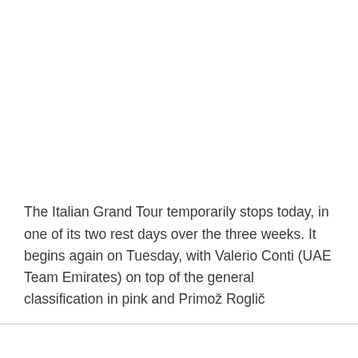The Italian Grand Tour temporarily stops today, in one of its two rest days over the three weeks. It begins again on Tuesday, with Valerio Conti (UAE Team Emirates) on top of the general classification in pink and Primož Roglič